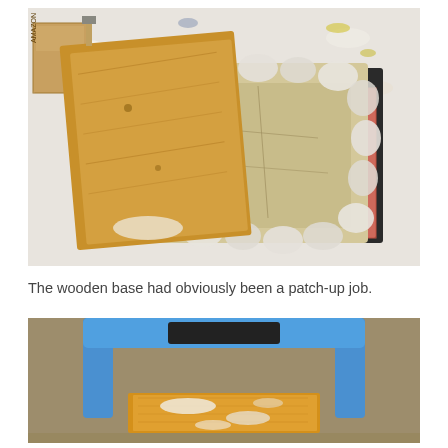[Figure (photo): Top-down view of a wooden base and a cracked clay/plaster mold piece on a paint-splattered drop cloth with pink foam underneath and a dark board, on a messy work surface with an Amazon box visible.]
The wooden base had obviously been a patch-up job.
[Figure (photo): Top-down view of a blue step stool or stand holding a wooden board with white residue on a brown carpet surface.]